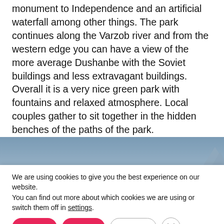monument to Independence and an artificial waterfall among other things. The park continues along the Varzob river and from the western edge you can have a view of the more average Dushanbe with the Soviet buildings and less extravagant buildings. Overall it is a very nice green park with fountains and relaxed atmosphere. Local couples gather to sit together in the hidden benches of the paths of the park.
[Figure (photo): Partial photo showing a blue-grey sky with the top of what appears to be a triangular monument or structure on the right side.]
We are using cookies to give you the best experience on our website.
You can find out more about which cookies we are using or switch them off in settings.